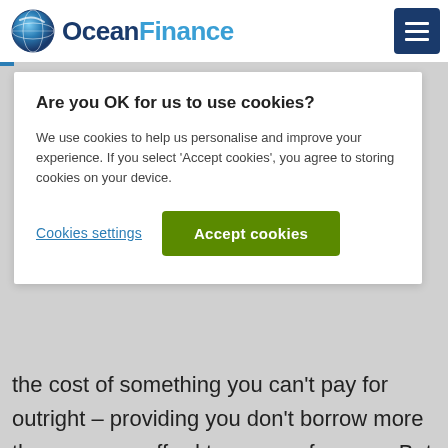Ocean Finance
Are you OK for us to use cookies?
We use cookies to help us personalise and improve your experience. If you select 'Accept cookies', you agree to storing cookies on your device.
Cookies settings
Accept cookies
the cost of something you can't pay for outright – providing you don't borrow more than you can afford to repay, of course. But should you borrow on a credit card or a loan? There's no right or wrong answer – it all depends on your situation, how much you want to borrow, and what your credit rating is.